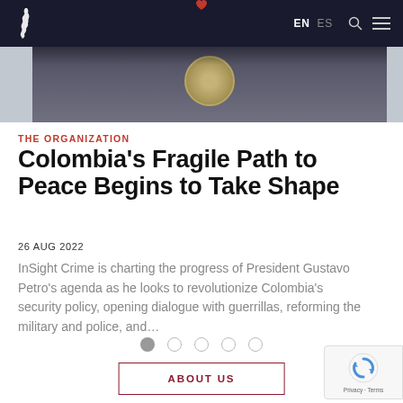EN  ES
[Figure (photo): Hero image showing a governmental seal/emblem, partially visible at the top of the article page]
THE ORGANIZATION
Colombia’s Fragile Path to Peace Begins to Take Shape
26 AUG 2022
InSight Crime is charting the progress of President Gustavo Petro’s agenda as he looks to revolutionize Colombia’s security policy, opening dialogue with guerrillas, reforming the military and police, and…
ABOUT US